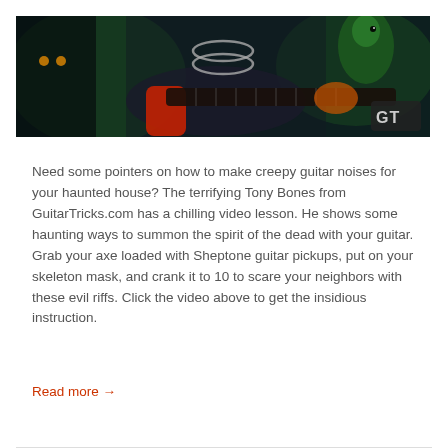[Figure (photo): A person dressed in a skeleton mask playing an electric guitar with red accents on a dark green/teal background. A green parrot is visible on the right side. A 'GT' logo appears in the bottom-right corner.]
Need some pointers on how to make creepy guitar noises for your haunted house? The terrifying Tony Bones from GuitarTricks.com has a chilling video lesson. He shows some haunting ways to summon the spirit of the dead with your guitar. Grab your axe loaded with Sheptone guitar pickups, put on your skeleton mask, and crank it to 10 to scare your neighbors with these evil riffs. Click the video above to get the insidious instruction.
Read more →